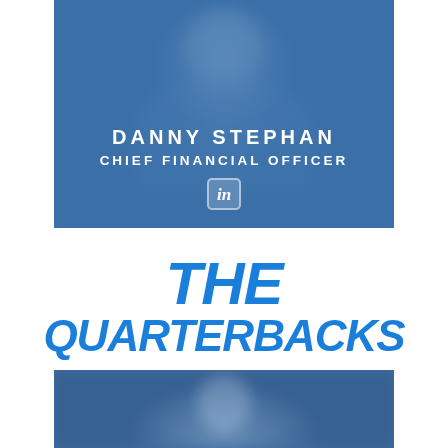[Figure (photo): Headshot of Danny Stephan with blue overlay, name and title displayed, LinkedIn icon at bottom]
THE QUARTERBACKS
[Figure (photo): Blurred bottom photo with blue tones showing partial figure]